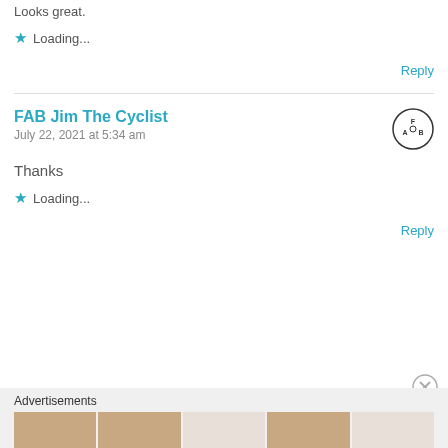Looks great.
★ Loading...
Reply
FAB Jim The Cyclist
July 22, 2021 at 5:34 am
Thanks
★ Loading...
Reply
Advertisements